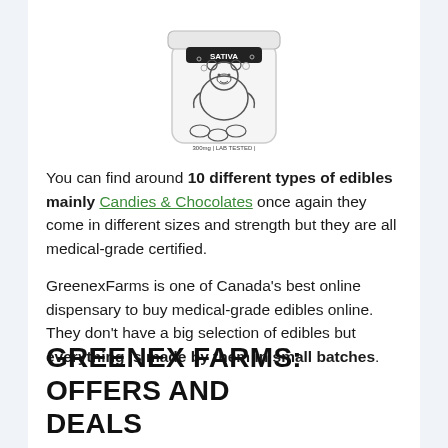[Figure (photo): Product jar with a cartoon bear illustration, labeled SATIVA, 300mg, LAB TESTED]
You can find around 10 different types of edibles mainly Candies & Chocolates once again they come in different sizes and strength but they are all medical-grade certified.
GreenexFarms is one of Canada’s best online dispensary to buy medical-grade edibles online. They don’t have a big selection of edibles but everything is made by them in small batches.
GREENEX FARMS: OFFERS AND DEALS